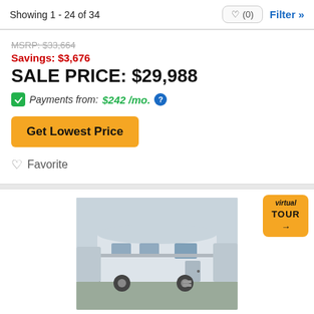Showing 1 - 24 of 34
MSRP: $33,664
Savings: $3,676
SALE PRICE: $29,988
Payments from: $242 /mo.
Get Lowest Price
Favorite
[Figure (photo): RV trailer photo with 23 Photos and 1 Tour indicators, virtual tour badge]
23 Photos  1 Tour
NEW 2023 COACHMEN RV APEX NANO 194BHS